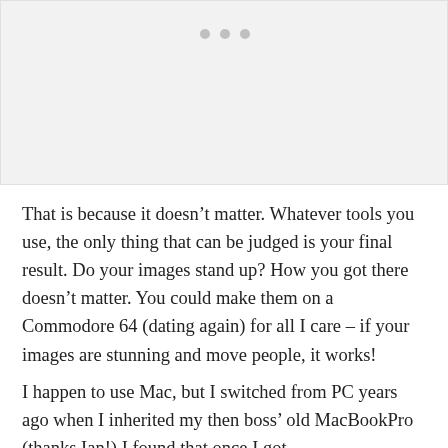[Figure (other): Light gray image placeholder area with three small gray dots at the top center, indicating a carousel or slideshow element with no loaded image.]
That is because it doesn’t matter. Whatever tools you use, the only thing that can be judged is your final result. Do your images stand up? How you got there doesn’t matter. You could make them on a Commodore 64 (dating again) for all I care – if your images are stunning and move people, it works!
I happen to use Mac, but I switched from PC years ago when I inherited my then boss’ old MacBookPro (thanks Ian!) I found that once I got